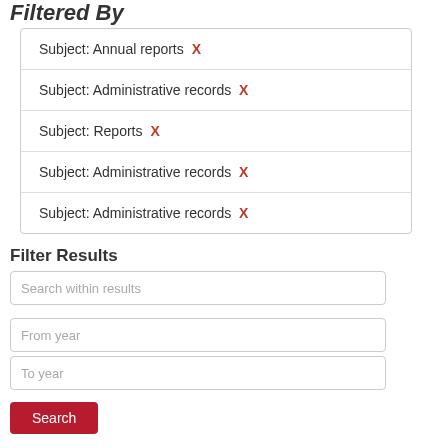Filtered By
Subject: Annual reports X
Subject: Administrative records X
Subject: Reports X
Subject: Administrative records X
Subject: Administrative records X
Filter Results
Search within results
From year
To year
Search